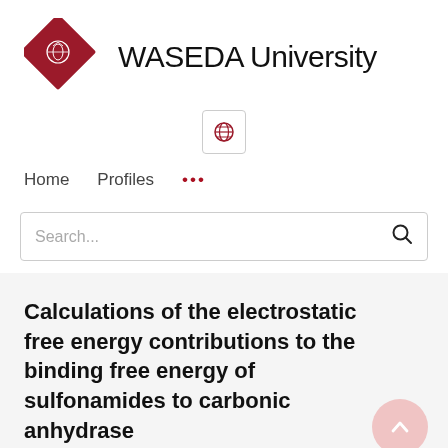[Figure (logo): Waseda University logo: red diamond shape with white crest inside, followed by text 'WASEDA University' in black]
[Figure (other): Small globe icon in a rounded square button, used for language/region selection]
Home   Profiles   ...
Search...
Calculations of the electrostatic free energy contributions to the binding free energy of sulfonamides to carbonic anhydrase